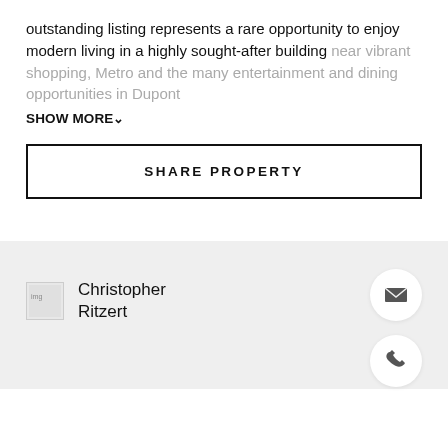outstanding listing represents a rare opportunity to enjoy modern living in a highly sought-after building near vibrant shopping, Metro and the many entertainment and dining opportunities in Dupont
SHOW MORE
SHARE PROPERTY
Christopher Ritzert
[Figure (other): Email contact icon button (envelope icon in white circle)]
[Figure (other): Phone contact icon button (phone icon in white circle)]